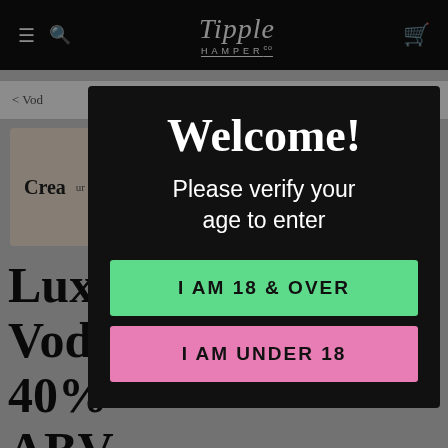Tipple Hamper Co
< Vod
Crea
Luxury Black Cow Vodka Gift Set - 40% ABV
Welcome!
Please verify your age to enter
I AM 18 & OVER
I AM UNDER 18